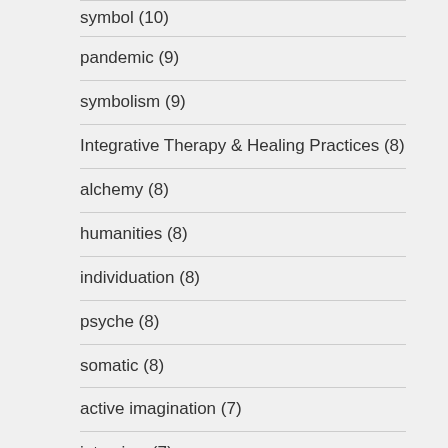symbol (10)
pandemic (9)
symbolism (9)
Integrative Therapy & Healing Practices (8)
alchemy (8)
humanities (8)
individuation (8)
psyche (8)
somatic (8)
active imagination (7)
interview (7)
relationships (7)
Psychotherapy (6)